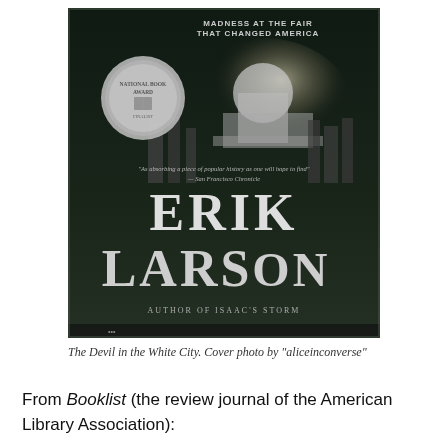[Figure (photo): Book cover of 'The Devil in the White City' by Erik Larson. The cover features a dark nighttime image of a grand illuminated building (likely the 1893 World's Fair), a silver medallion award seal on the left, and large white text reading 'ERIK LARSON' in the center. Subtitle text reads 'MADNESS AT THE FAIR THAT CHANGED AMERICA' at the top, and a blurb from the San Francisco Chronicle is partially visible. At the bottom it says 'AUTHOR OF ISAAC'S STORM'.]
The Devil in the White City. Cover photo by "aliceinconverse"
From Booklist (the review journal of the American Library Association):